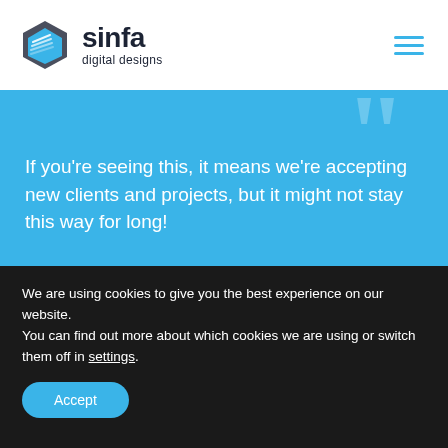sinfa digital designs
[Figure (logo): Sinfa Digital Designs logo with hexagonal blue and grey icon and bold text]
If you’re seeing this, it means we’re accepting new clients and projects, but it might not stay this way for long!
Want a high-performing website that’ll help you increase traffic, improve lead quality, and
We are using cookies to give you the best experience on our website.
You can find out more about which cookies we are using or switch them off in settings.
Accept